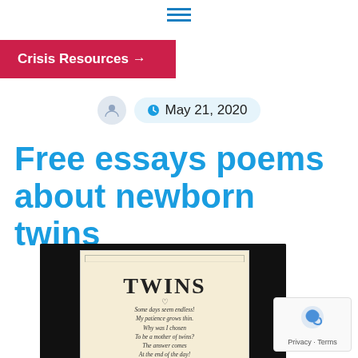≡
Crisis Resources →
May 21, 2020
Free essays poems about newborn twins
[Figure (photo): A book cover by Cheryl Weaver with title TWINS showing a poem: 'Some days seem endless! My patience grows thin. Why was I chosen To be a mother of twins? The answer comes At the end of the day! As I tuck them in bed To myself I say There are two to kiss.']
Privacy · Terms